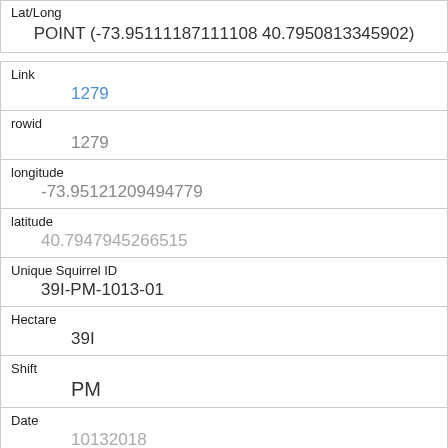| Lat/Long | POINT (-73.95111187111108 40.7950813345902) |
| Link | 1279 |
| rowid | 1279 |
| longitude | -73.95121209494779 |
| latitude | 40.7947945266515 |
| Unique Squirrel ID | 39I-PM-1013-01 |
| Hectare | 39I |
| Shift | PM |
| Date | 10132018 |
| Hectare Squirrel Number | 1 |